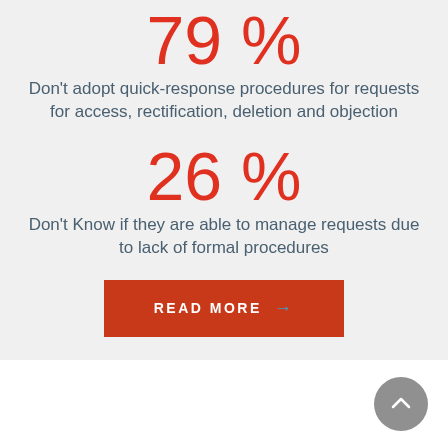79 %
Don't adopt quick-response procedures for requests for access, rectification, deletion and objection
26 %
Don't Know if they are able to manage requests due to lack of formal procedures
READ MORE →
[Figure (other): Grey circular scroll-to-top button with white upward chevron arrow]